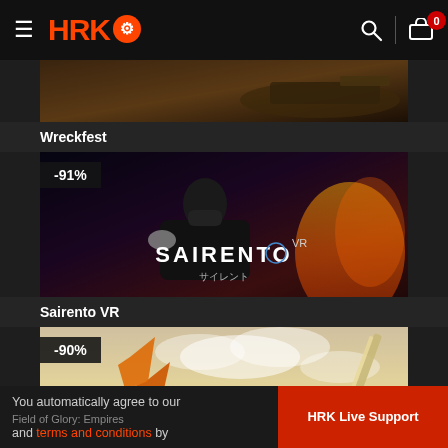HRK (logo) — navigation header with hamburger menu, search icon, cart icon with badge 0
[Figure (screenshot): Wreckfest game banner image — dark action racing scene]
Wreckfest
[Figure (screenshot): Sairento VR game banner image with ninja character, -91% discount badge, SAIRENTO VR logo and Japanese text サイレント]
Sairento VR
[Figure (screenshot): Field of Glory: Empires game banner image with golden sky and sword, -90% discount badge, FIELD of GLORY EMPIRES logo]
You automatically agree to our
Field of Glory: Empires
and terms and conditions by
HRK Live Support